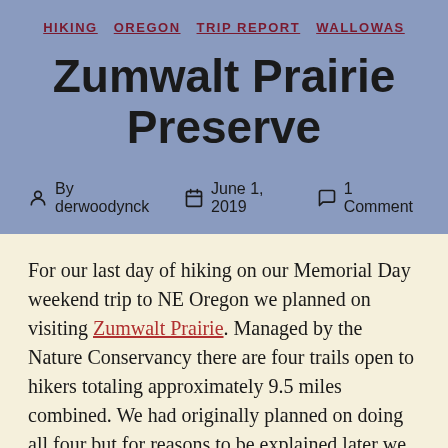HIKING   OREGON   TRIP REPORT   WALLOWAS
Zumwalt Prairie Preserve
By derwoodynck   June 1, 2019   1 Comment
For our last day of hiking on our Memorial Day weekend trip to NE Oregon we planned on visiting Zumwalt Prairie. Managed by the Nature Conservancy there are four trails open to hikers totaling approximately 9.5 miles combined. We had originally planned on doing all four but for reasons to be explained later we wound up skipping the Canyon Vista Trail this trip.